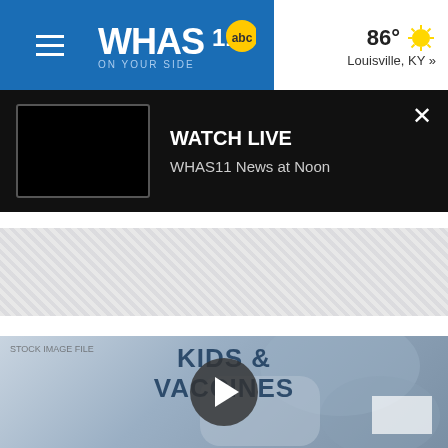[Figure (screenshot): WHAS11 ABC News website navigation bar with hamburger menu icon, WHAS11 ABC logo, and weather showing 86° Louisville, KY]
WATCH LIVE
WHAS11 News at Noon
[Figure (photo): Gray hatched advertisement banner area]
[Figure (screenshot): Video thumbnail showing person receiving vaccine injection with overlay text KIDS & VACCINES and a play button circle in center]